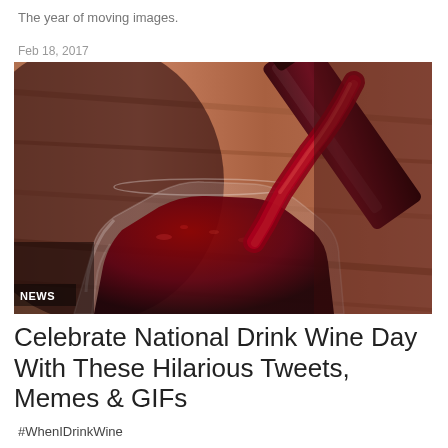The year of moving images.
Feb 18, 2017
[Figure (photo): Close-up photo of red wine being poured from a dark bottle into a wine glass, placed on a wooden surface. A 'NEWS' label overlay appears in the bottom-left corner of the photo.]
Celebrate National Drink Wine Day With These Hilarious Tweets, Memes & GIFs
#WhenIDrinkWine